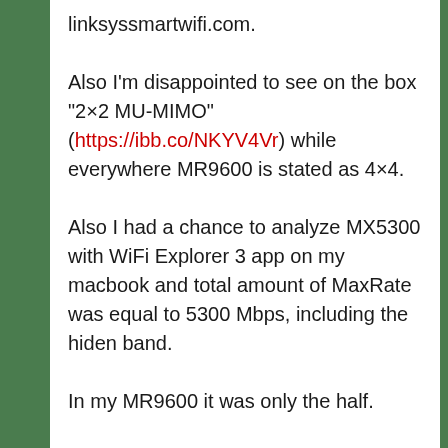linksyssmartwifi.com.

Also I'm disappointed to see on the box "2×2 MU-MIMO" (https://ibb.co/NKYV4Vr) while everywhere MR9600 is stated as 4×4.
Also I had a chance to analyze MX5300 with WiFi Explorer 3 app on my macbook and total amount of MaxRate was equal to 5300 Mbps, including the hiden band.
In my MR9600 it was only the half.
Instead of 1147+4804 it's only 573.5+2402 – https://ibb.co/1Zz011n
How it could be?